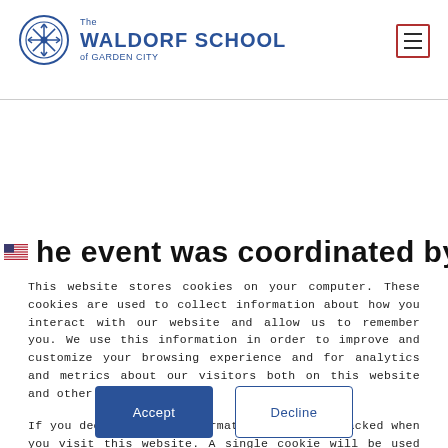[Figure (logo): The Waldorf School of Garden City logo with circular emblem and school name in blue]
he event was coordinated by Marc
This website stores cookies on your computer. These cookies are used to collect information about how you interact with our website and allow us to remember you. We use this information in order to improve and customize your browsing experience and for analytics and metrics about our visitors both on this website and other media.
If you decline, your information won't be tracked when you visit this website. A single cookie will be used in your browser to remember your preference not to be tracked.